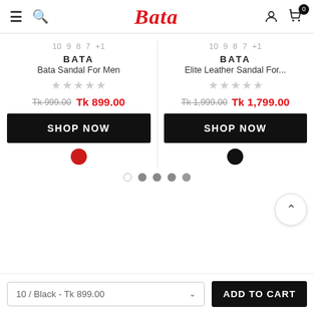Bata — Navigation header with menu, search, user, and cart icons
10 9 8 7 +1
BATA
Bata Sandal For Men
Tk 999.00  Tk 899.00
SHOP NOW
10 9 8 7 +1
BATA
Elite Leather Sandal For...
Tk 1,999.00  Tk 1,799.00
SHOP NOW
10 / Black - Tk 899.00   ADD TO CART